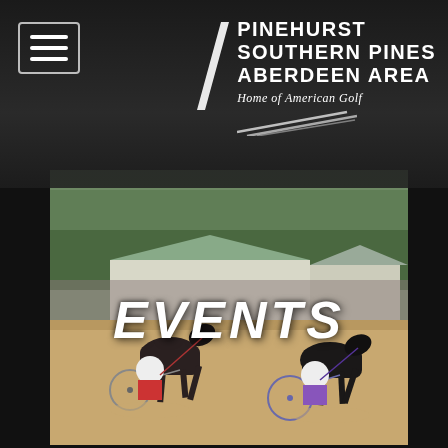[Figure (logo): Pinehurst Southern Pines Aberdeen Area - Home of American Golf logo with white diagonal slash mark]
[Figure (photo): Harness horse racing scene with two jockeys on sulkies pulled by dark horses on a dirt track, crowds visible in background, white buildings in background]
EVENTS